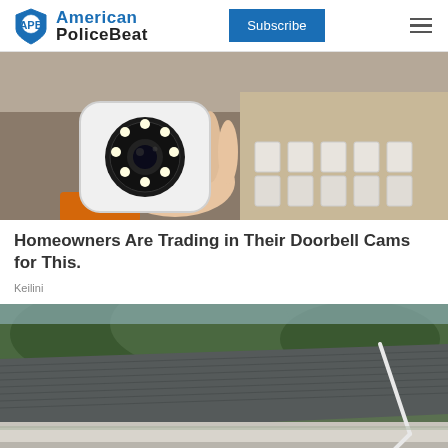American Police Beat — Subscribe
[Figure (photo): A person's hand holding a small white PTZ security camera with LED ring, with boxes of similar cameras visible in the background.]
Homeowners Are Trading in Their Doorbell Cams for This.
Keilini
[Figure (photo): A close-up photograph of a house roof gutter being cleaned, with a white hose or tool visible, green trees in the background.]